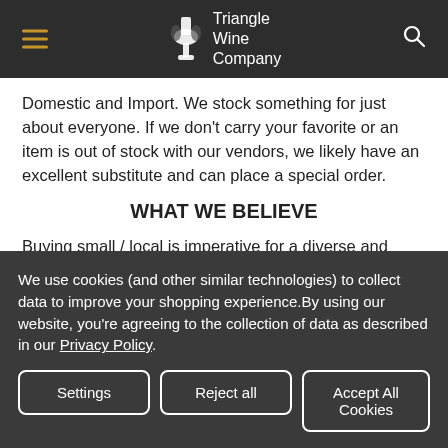Triangle Wine Company
Domestic and Import. We stock something for just about everyone. If we don't carry your favorite or an item is out of stock with our vendors, we likely have an excellent substitute and can place a special order.
WHAT WE BELIEVE
Buying small / local is imperative for a diverse and thriving local economy. Every customer matters as small / local business cannot rely upon big box retail
We use cookies (and other similar technologies) to collect data to improve your shopping experience.By using our website, you're agreeing to the collection of data as described in our Privacy Policy.